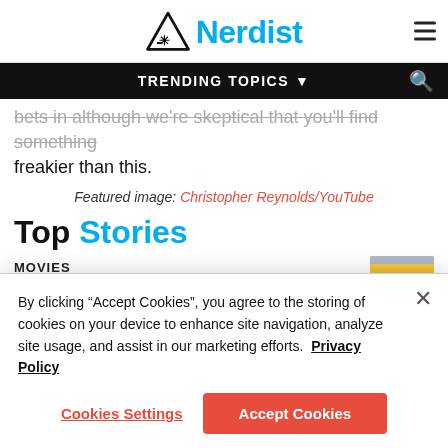Nerdist
TRENDING TOPICS
bets in although we're skeptical that you'll find something freakier than this.
Featured image: Christopher Reynolds/YouTube
Top Stories
MOVIES
By clicking “Accept Cookies”, you agree to the storing of cookies on your device to enhance site navigation, analyze site usage, and assist in our marketing efforts.  Privacy Policy
Cookies Settings
Accept Cookies